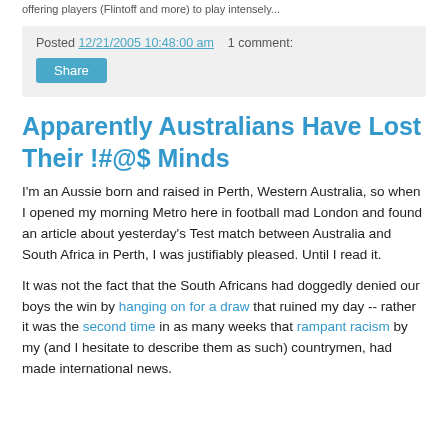offering players (Flintoff and more) to play intensely...
Posted 12/21/2005 10:48:00 am    1 comment:
Share
Apparently Australians Have Lost Their !#@$ Minds
I'm an Aussie born and raised in Perth, Western Australia, so when I opened my morning Metro here in football mad London and found an article about yesterday's Test match between Australia and South Africa in Perth, I was justifiably pleased. Until I read it.
It was not the fact that the South Africans had doggedly denied our boys the win by hanging on for a draw that ruined my day -- rather it was the second time in as many weeks that rampant racism by my (and I hesitate to describe them as such) countrymen, had made international news.